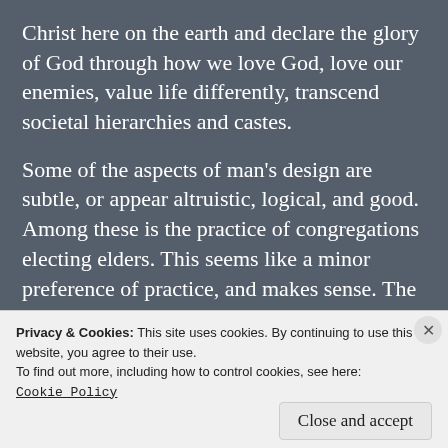Christ here on the earth and declare the glory of God through how we love God, love our enemies, value life differently, transcend societal hierarchies and castes.
Some of the aspects of man's design are subtle, or appear altruistic, logical, and good. Among these is the practice of congregations electing elders. This seems like a minor preference of practice, and makes sense. The congregations would know the people best. America loves
Privacy & Cookies: This site uses cookies. By continuing to use this website, you agree to their use.
To find out more, including how to control cookies, see here:
Cookie Policy
Close and accept